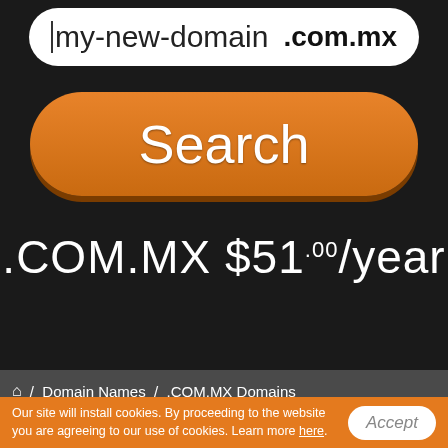[Figure (screenshot): Domain name search input field showing 'my-new-domain' with '.com.mx' TLD selector on dark background]
[Figure (screenshot): Orange 'Search' button with rounded corners]
.COM.MX $51.00/year
🏠 / Domain Names / .COM.MX Domains
.COM.MX Pricing
💬 Live Chat
Our site will install cookies. By proceeding to the website you are agreeing to our use of cookies. Learn more here.